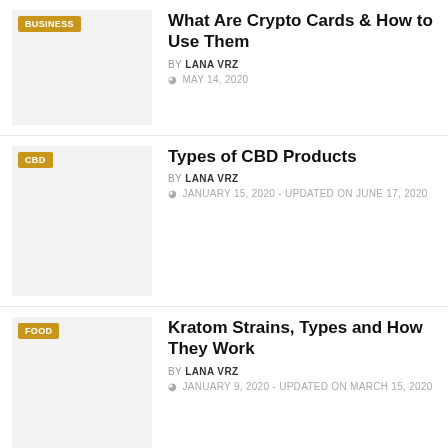[Figure (photo): Article thumbnail image with BUSINESS tag, clipped at top]
What Are Crypto Cards & How to Use Them
BY LANA VRZ  MAY 14, 2020
[Figure (photo): Article thumbnail image with CBD tag]
Types of CBD Products
BY LANA VRZ  JANUARY 15, 2020 - UPDATED ON JUNE 17, 2020
[Figure (photo): Article thumbnail image with FOOD tag]
Kratom Strains, Types and How They Work
BY LANA VRZ  JANUARY 9, 2020 - UPDATED ON MARCH 15, 2020
[Figure (photo): Article thumbnail image with BUSINESS tag]
Cryptocurrencies: Types, How They Work
BY LANA VRZ  DECEMBER 29, 2019